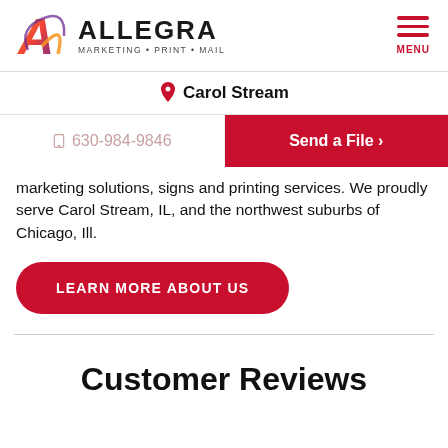[Figure (logo): Allegra Marketing Print Mail logo with stylized A and colorful swash]
Carol Stream
630-984-9846
Send a File ›
marketing solutions, signs and printing services. We proudly serve Carol Stream, IL, and the northwest suburbs of Chicago, Ill.
LEARN MORE ABOUT US
Customer Reviews